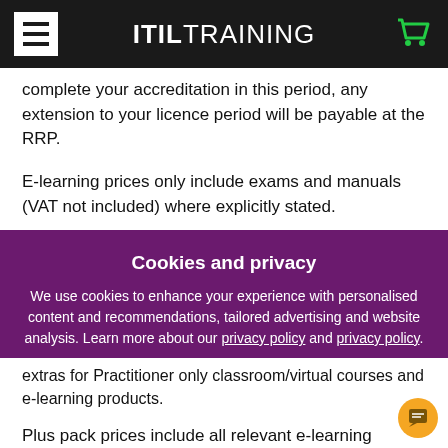ITILTRAINING
complete your accreditation in this period, any extension to your licence period will be payable at the RRP.
E-learning prices only include exams and manuals (VAT not included) where explicitly stated.
[Figure (screenshot): Cookies and privacy dialog overlay with purple background. Title: 'Cookies and privacy'. Body text: 'We use cookies to enhance your experience with personalised content and recommendations, tailored advertising and website analysis. Learn more about our privacy policy and privacy policy.' Button: 'Accept and close']
extras for Practitioner only classroom/virtual courses and e-learning products.
Plus pack prices include all relevant e-learning licences,